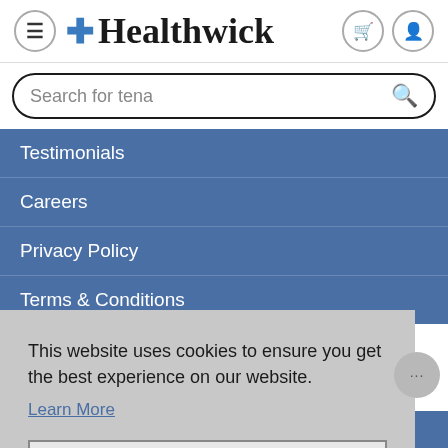Healthwick
Search for tena
Testimonials
Careers
Privacy Policy
Terms & Conditions
This website uses cookies to ensure you get the best experience on our website.
Learn More
Got it!
How to Put On an Adult Di...